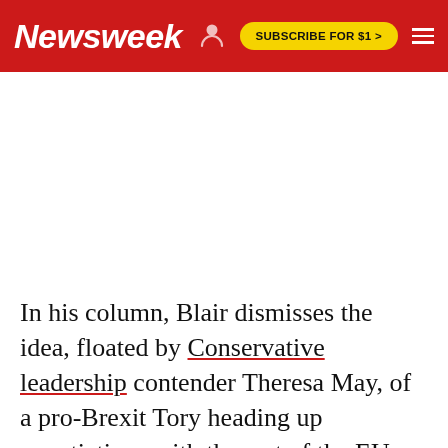Newsweek | SUBSCRIBE FOR $1 >
[Figure (other): Empty white advertisement area]
In his column, Blair dismisses the idea, floated by Conservative leadership contender Theresa May, of a pro-Brexit Tory heading up negotiations with the rest of the EU: "OK, I